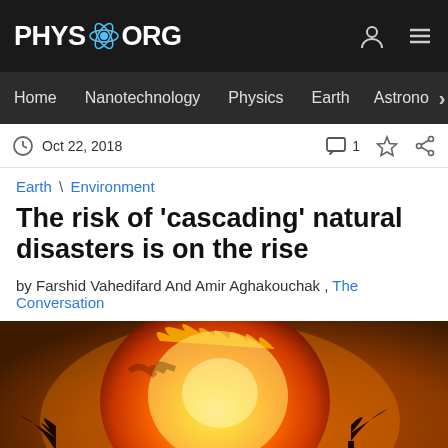PHYS.ORG
Home  Nanotechnology  Physics  Earth  Astrono
Oct 22, 2018  1
Earth \ Environment
The risk of 'cascading' natural disasters is on the rise
by Farshid Vahedifard And Amir Aghakouchak , The Conversation
[Figure (photo): A large fireball with trees silhouetted against an orange sky, illustrating wildfire disaster]